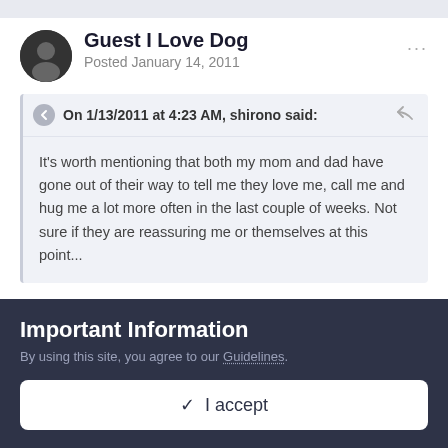Guest I Love Dog
Posted January 14, 2011
On 1/13/2011 at 4:23 AM, shirono said:
It's worth mentioning that both my mom and dad have gone out of their way to tell me they love me, call me and hug me a lot more often in the last couple of weeks. Not sure if they are reassuring me or themselves at this point...
That's the mark of true parental, unconditional love. You are lucky. Treasure them as I'm sure they treasure you.
Important Information
By using this site, you agree to our Guidelines.
✓  I accept